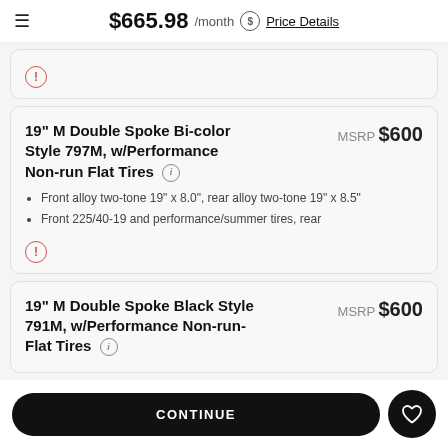$665.98 /month  Price Details
! (warning icon stub card)
19" M Double Spoke Bi-color Style 797M, w/Performance Non-run Flat Tires
MSRP $600
Front alloy two-tone 19" x 8.0", rear alloy two-tone 19" x 8.5"
Front 225/40-19 and performance/summer tires, rear
19" M Double Spoke Black Style 791M, w/Performance Non-run-Flat Tires
MSRP $600
CONTINUE